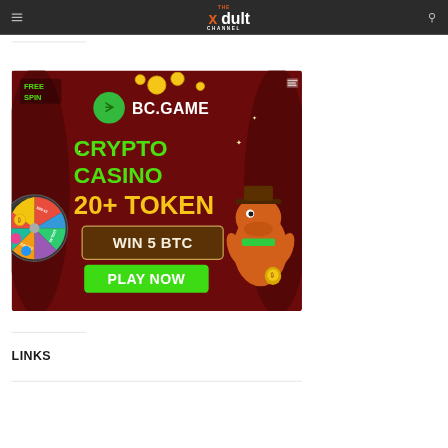THE xdult CHANNEL
[Figure (illustration): BC.GAME crypto casino advertisement banner. Dark red background with: FREE SPIN text top left, BC.GAME logo and name in white text, CRYPTO CASINO in bright green large text, 20+ TOKEN in yellow large text, WIN 5 BTC in a brown bordered box, PLAY NOW green button, a spinning wheel of fortune on the left, and an orange cartoon crocodile/dinosaur character wearing a cowboy hat on the right.]
LINKS